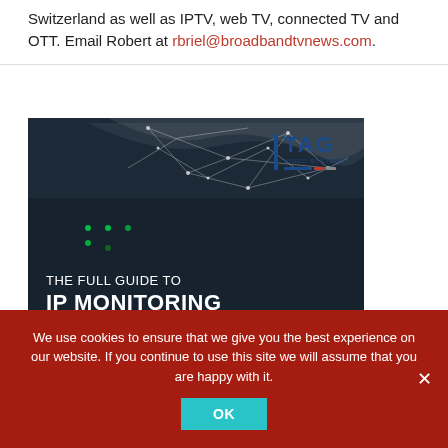Switzerland as well as IPTV, web TV, connected TV and OTT. Email Robert at rbriel@broadbandtvnews.com.
[Figure (illustration): Advertisement for TAG Video Systems showing 'THE FULL GUIDE TO IP MONITORING' text over a dark background with network mesh graphics and TAG Video Systems logo]
We use cookies to ensure that we give you the best experience on our website. If you continue to use this site we will assume that you are happy with it.